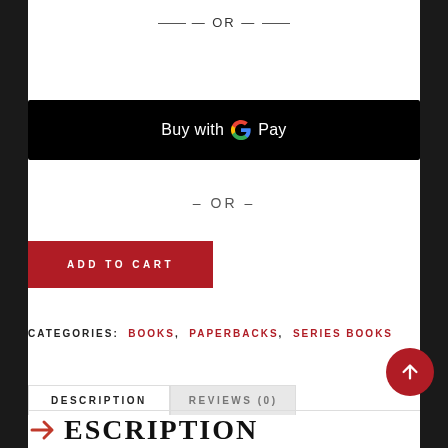— OR —
[Figure (screenshot): Black 'Buy with G Pay' button with Google G logo in brand colors]
– OR –
ADD TO CART
CATEGORIES: BOOKS, PAPERBACKS, SERIES BOOKS
DESCRIPTION | REVIEWS (0)
ESCRIPTION